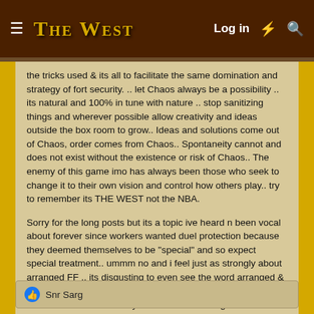The West — Log in
the tricks used & its all to facilitate the same domination and strategy of fort security. .. let Chaos always be a possibility .. its natural and 100% in tune with nature .. stop sanitizing things and wherever possible allow creativity and ideas outside the box room to grow.. Ideas and solutions come out of Chaos, order comes from Chaos.. Spontaneity cannot and does not exist without the existence or risk of Chaos.. The enemy of this game imo has always been those who seek to change it to their own vision and control how others play.. try to remember its THE WEST not the NBA.
Sorry for the long posts but its a topic ive heard n been vocal about forever since workers wanted duel protection because they deemed themselves to be "special" and so expect special treatment.. ummm no and i feel just as strongly about arranged FF .. its disgusting to even see the word arranged & acceptable times.. .. almost as bad as telling people they cant or shouldnt call at 4am .. yea thats been a thing too ..
Snr Sarg